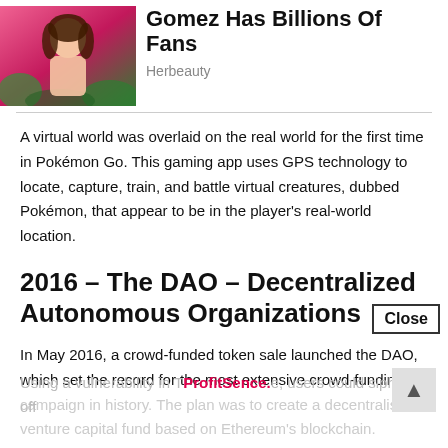[Figure (photo): Photo of a woman with pink background and foliage, celebrity photo]
Gomez Has Billions Of Fans
Herbeauty
A virtual world was overlaid on the real world for the first time in Pokémon Go. This gaming app uses GPS technology to locate, capture, train, and battle virtual creatures, dubbed Pokémon, that appear to be in the player’s real-world location.
2016 – The DAO – Decentralized Autonomous Organizations
In May 2016, a crowd-funded token sale launched the DAO, which set the record for the most extensive crowd-funding campaign in history. The plan was to create a decentralised venture capital fund based on Ethereum’s blockchain.
Using a vulnerability in The DAO, users could siphon off
ProfitSence.